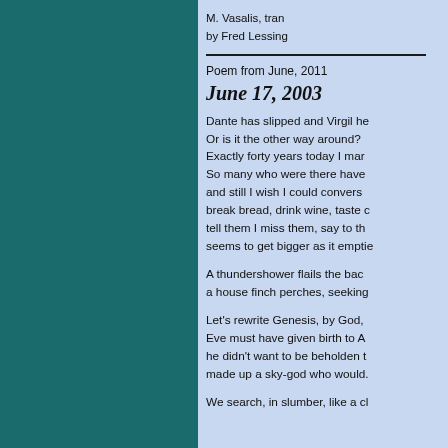M. Vasalis, translated by Fred Lessing
Poem from June, 2011
June 17, 2003
Dante has slipped and Virgil he
Or is it the other way around?
Exactly forty years today I mar
So many who were there have
and still I wish I could convers
break bread, drink wine, taste c
tell them I miss them, say to th
seems to get bigger as it emptie
A thundershower flails the bac
a house finch perches, seeking
Let's rewrite Genesis, by God,
Eve must have given birth to A
he didn't want to be beholden t
made up a sky-god who would.
We search, in slumber, like a cl